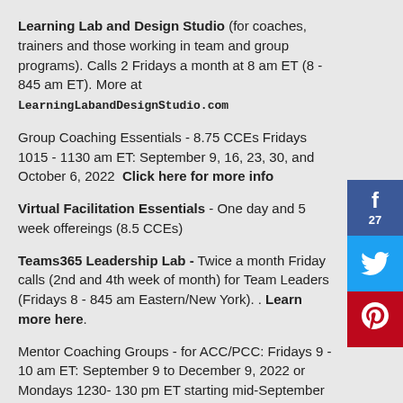Learning Lab and Design Studio (for coaches, trainers and those working in team and group programs). Calls 2 Fridays a month at 8 am ET (8 - 845 am ET). More at LearningLabandDesignStudio.com
Group Coaching Essentials - 8.75 CCEs Fridays 1015 - 1130 am ET: September 9, 16, 23, 30, and October 6, 2022  Click here for more info
Virtual Facilitation Essentials  - One day and 5 week offereings (8.5 CCEs)
Teams365 Leadership Lab - Twice a month Friday calls (2nd and 4th week of month) for Team Leaders (Fridays 8 - 845 am Eastern/New York). . Learn more here.
Mentor Coaching Groups - for ACC/PCC: Fridays 9 - 10 am ET: September 9 to December 9, 2022 or Mondays 1230- 130 pm ET starting mid-September lick here for more info.